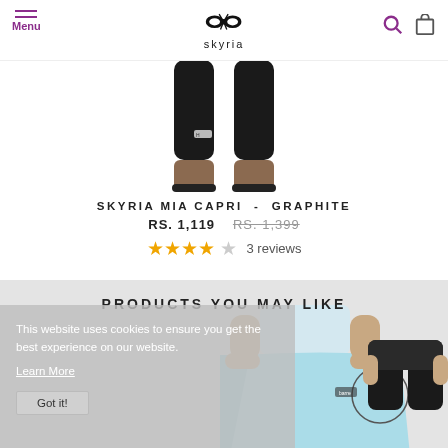Menu | Skyria logo | Search | Cart
[Figure (photo): Cropped photo of model's legs wearing black Skyria Mia Capri leggings with logo near knee]
SKYRIA MIA CAPRI - GRAPHITE
RS. 1,119  RS. 1,399 (strikethrough)  ★★★★☆ 3 reviews
PRODUCTS YOU MAY LIKE
[Figure (photo): Cookie consent overlay with text: This website uses cookies to ensure you get the best experience on our website. Learn More. Got it! button]
[Figure (photo): Product thumbnail showing light blue athletic skirt/shorts with High Waist badge]
[Figure (photo): Product thumbnail showing black leggings worn by model]